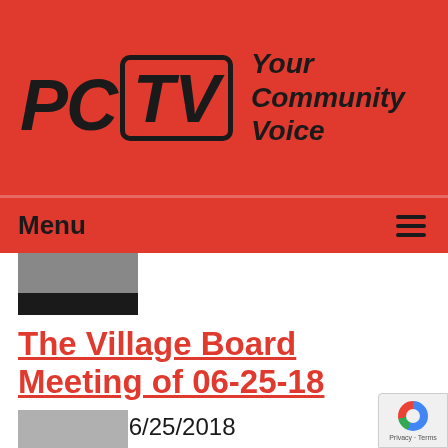[Figure (logo): PCTV Your Community Voice logo on red background]
Menu ☰
[Figure (photo): Partial thumbnail image of a meeting room with black table bar at bottom]
The Village Board Meeting of 06-25-18
Airdate: 06/25/2018
Guests: Will Promisel
Watched: 36 times
[Figure (photo): Partial thumbnail of another image at bottom left]
[Figure (other): reCAPTCHA badge with Privacy and Terms links]